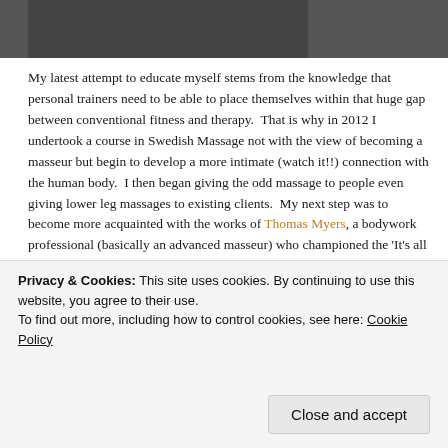[Figure (photo): Partial photo of people, top portion visible, dark background]
My latest attempt to educate myself stems from the knowledge that personal trainers need to be able to place themselves within that huge gap between conventional fitness and therapy.  That is why in 2012 I undertook a course in Swedish Massage not with the view of becoming a masseur but begin to develop a more intimate (watch it!!) connection with the human body.  I then began giving the odd massage to people even giving lower leg massages to existing clients.  My next step was to become more acquainted with the works of Thomas Myers, a bodywork professional (basically an advanced masseur) who championed the 'It's all connected' model for human anatomy to the extent that he was even licensed to prove his theories using cadavers (that's dead bodies to you and me).  I noticed from some of his DVDs that I could actually use my forearm as a foamroller.
But some of you may not even be familiar with foam rolling.  Well, a lot of
Privacy & Cookies: This site uses cookies. By continuing to use this website, you agree to their use.
To find out more, including how to control cookies, see here: Cookie Policy
Close and accept